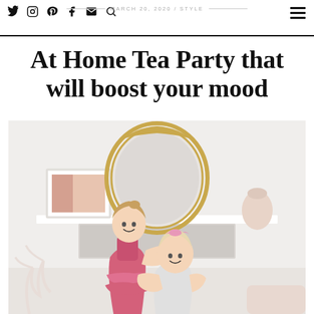MARCH 20, 2020 / STYLE
At Home Tea Party that will boost your mood
[Figure (photo): Two young girls hugging and smiling in front of a white fireplace mantel with a gold ornate mirror, a framed picture, and a vase. The girls are dressed in pink party attire. Indoor bright white room setting.]